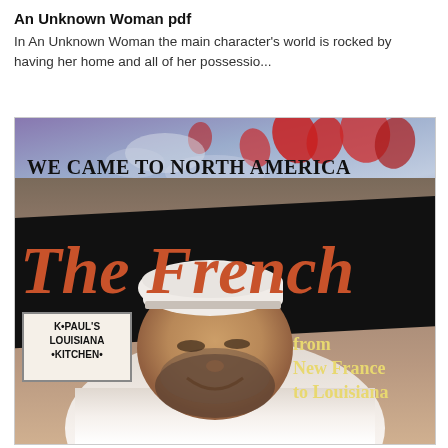An Unknown Woman pdf
In An Unknown Woman the main character's world is rocked by having her home and all of her possessio...
[Figure (photo): Book cover of 'We Came to North America: The French - from New France to Louisiana'. Shows a smiling bearded man in a white chef's coat and white cap, standing in front of K-Paul's Louisiana Kitchen sign. The cover has a black banner with large orange cursive text reading 'The French' and a colorful sky background at the top.]